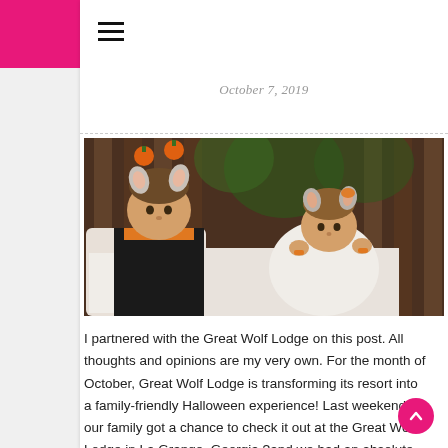≡
October 7, 2019
[Figure (photo): Two young children wearing wolf/animal ear headbands, sitting in what appears to be a wooden bunk bed area. The older child is a boy wearing a black and orange shirt, the younger is a baby girl. Both are in Halloween-themed animal costumes.]
I partnered with the Great Wolf Lodge on this post. All thoughts and opinions are my very own. For the month of October, Great Wolf Lodge is transforming its resort into a family-friendly Halloween experience! Last weekend our family got a chance to check it out at the Great Wolf Lodge in La Grange, Georgia ?and we had an absolute blast! Now that